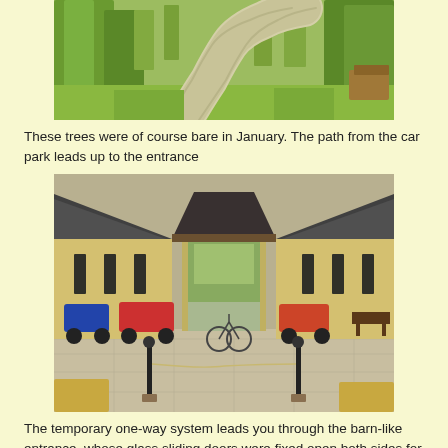[Figure (photo): A winding concrete path leading through green trees and lawn toward an entrance, photographed in summer when trees are leafy.]
These trees were of course bare in January. The path from the car park leads up to the entrance
[Figure (photo): A barn-like building with yellow stone walls and dark slate roof, with a large central gateway opening. Bicycles and machinery parked in front on a paved courtyard. Glass sliding doors visible in the entrance.]
The temporary one-way system leads you through the barn-like entrance, whose glass sliding doors were fixed open both sides for maximum air circulation.
The meeter-and-greeter explained that they were